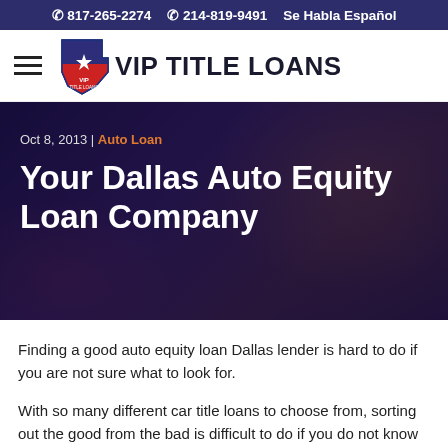817-265-2274   214-819-9491   Se Habla Español
[Figure (logo): VIP Title Loans logo with Texas state shape icon and hamburger menu]
[Figure (photo): Hero background image showing hands with cash, overlaid with dark purple tint]
Oct 8, 2013 | Auto Loan
Your Dallas Auto Equity Loan Company
Finding a good auto equity loan Dallas lender is hard to do if you are not sure what to look for.
With so many different car title loans to choose from, sorting out the good from the bad is difficult to do if you do not know what to look for. If you are new to this industry, it can really be hard to know what to look for.